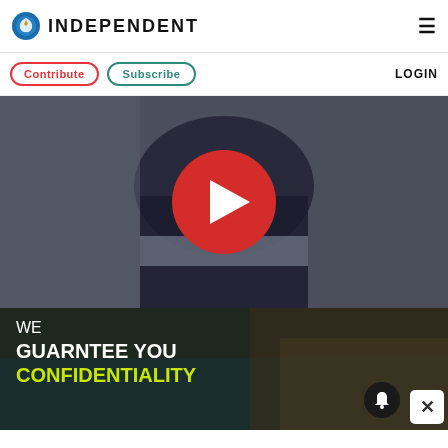INDEPENDENT
Contribute  Subscribe  LOGIN
[Figure (screenshot): Video thumbnail showing a person at a podium/lectern with a large red play button overlay, indicating a video player.]
[Figure (photo): Advertisement banner with dark background showing a woman and text: WE GUARNTEE YOU CONFIDENTIALITY in white and yellow-green colors, with a bell notification button and close (X) button.]